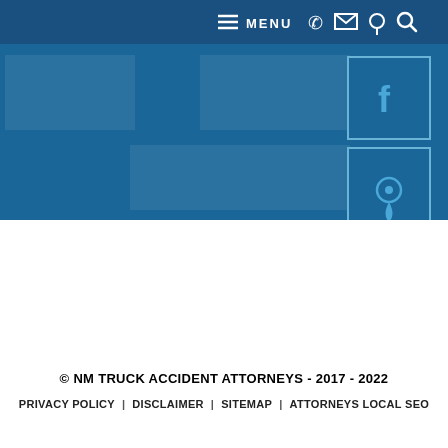[Figure (screenshot): Website navigation bar with hamburger menu icon, MENU text, phone icon, email/envelope icon, location pin icon, and search/magnifying glass icon on a dark blue background]
[Figure (screenshot): Blue hero/banner area of a law firm website with two social media sidebar boxes: Facebook (f icon) and location pin icon, both outlined in light blue borders]
© NM TRUCK ACCIDENT ATTORNEYS - 2017 - 2022
PRIVACY POLICY | DISCLAIMER | SITEMAP | ATTORNEYS LOCAL SEO